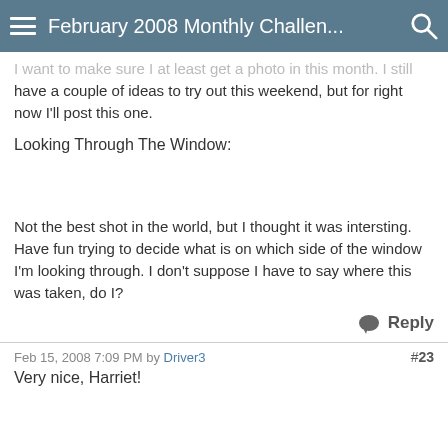February 2008 Monthly Challen...
I want to make sure I at least get a photo in this month. I still have a couple of ideas to try out this weekend, but for right now I'll post this one.
Looking Through The Window:
Not the best shot in the world, but I thought it was intersting. Have fun trying to decide what is on which side of the window I'm looking through. I don't suppose I have to say where this was taken, do I?
Reply
Feb 15, 2008 7:09 PM by Driver3  #23
Very nice, Harriet!